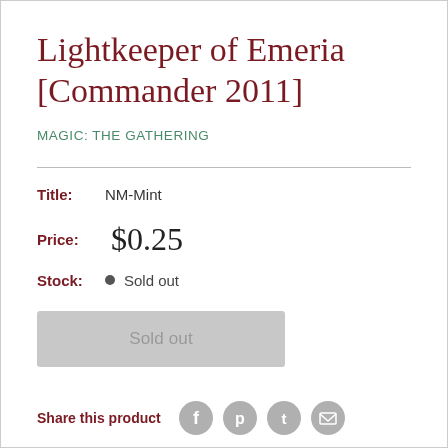Lightkeeper of Emeria [Commander 2011]
MAGIC: THE GATHERING
Title:  NM-Mint
Price:  $0.25
Stock:  Sold out
Sold out
Share this product